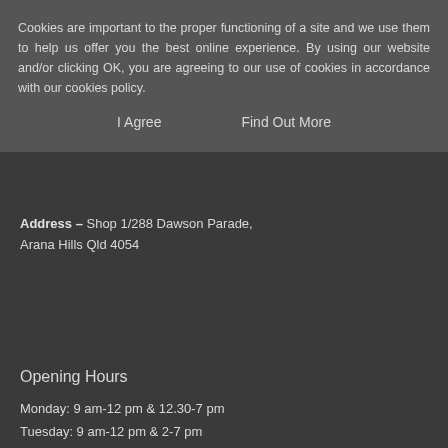Cookies are important to the proper functioning of a site and we use them to help us offer you the best online experience. By using our website and/or clicking OK, you are agreeing to our use of cookies in accordance with our cookies policy.
I Agree    Find Out More
Address – Shop 1/288 Dawson Parade, Arana Hills Qld 4054
Opening Hours
Monday:   9 am-12 pm & 12.30-7 pm
Tuesday:   9 am-12 pm & 2-7 pm
Wednesday: 9 am-12 pm & 2-7 pm
Thursday:  8 am-7 pm